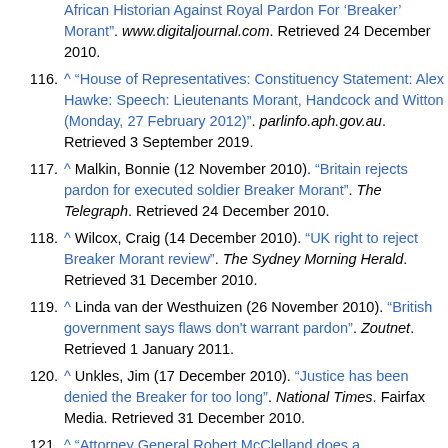African Historian Against Royal Pardon For 'Breaker' Morant". www.digitaljournal.com. Retrieved 24 December 2010.
116. ^ "House of Representatives: Constituency Statement: Alex Hawke: Speech: Lieutenants Morant, Handcock and Witton (Monday, 27 February 2012)". parlinfo.aph.gov.au. Retrieved 3 September 2019.
117. ^ Malkin, Bonnie (12 November 2010). "Britain rejects pardon for executed soldier Breaker Morant". The Telegraph. Retrieved 24 December 2010.
118. ^ Wilcox, Craig (14 December 2010). "UK right to reject Breaker Morant review". The Sydney Morning Herald. Retrieved 31 December 2010.
119. ^ Linda van der Westhuizen (26 November 2010). "British government says flaws don't warrant pardon". Zoutnet. Retrieved 1 January 2011.
120. ^ Unkles, Jim (17 December 2010). "Justice has been denied the Breaker for too long". National Times. Fairfax Media. Retrieved 31 December 2010.
121. ^ "Attorney General Robert McClelland does a